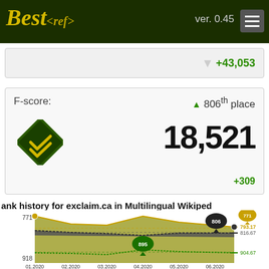Best<ref> ver. 0.45
+43,053
F-score: ▲ 806th place 18,521 +309
ank history for exclaim.ca in Multilingual Wikipe
[Figure (line-chart): Rank history for exclaim.ca in Multilingual Wikipedia]
PR-rank    AR-rank    F-rank